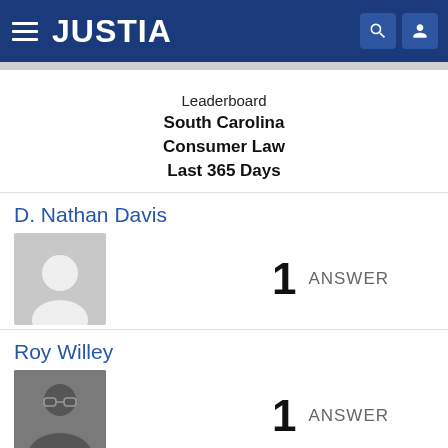JUSTIA
Leaderboard
South Carolina
Consumer Law
Last 365 Days
D. Nathan Davis
1 ANSWER
Roy Willey
1 ANSWER